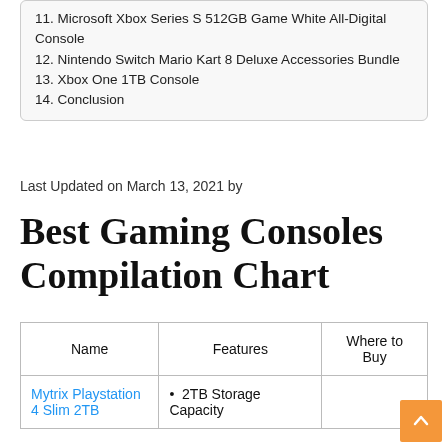11. Microsoft Xbox Series S 512GB Game White All-Digital Console
12. Nintendo Switch Mario Kart 8 Deluxe Accessories Bundle
13. Xbox One 1TB Console
14. Conclusion
Last Updated on March 13, 2021 by
Best Gaming Consoles Compilation Chart
| Name | Features | Where to Buy |
| --- | --- | --- |
| Mytrix Playstation 4 Slim 2TB | • 2TB Storage Capacity |  |